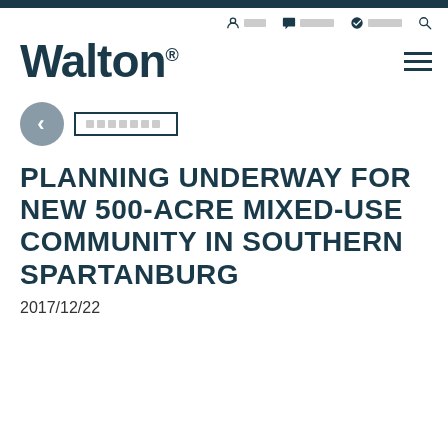Walton
[Figure (other): Navigation bar with user icon, chat icon, checkmark icon, and search icon with redacted text labels]
[Figure (other): Back button (left chevron in gray circle) and breadcrumb box with redacted text]
PLANNING UNDERWAY FOR NEW 500-ACRE MIXED-USE COMMUNITY IN SOUTHERN SPARTANBURG
2017/12/22